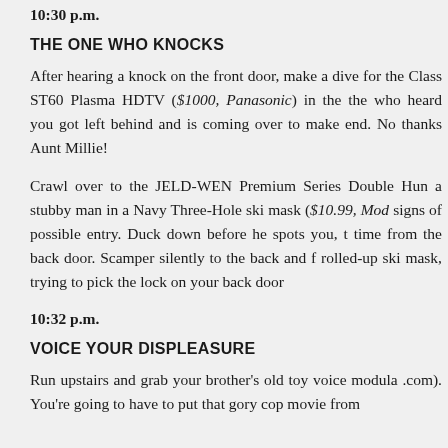10:30 p.m.
THE ONE WHO KNOCKS
After hearing a knock on the front door, make a dive for the Class ST60 Plasma HDTV ($1000, Panasonic) in the the who heard you got left behind and is coming over to make end. No thanks Aunt Millie!
Crawl over to the JELD-WEN Premium Series Double Hun a stubby man in a Navy Three-Hole ski mask ($10.99, Mod signs of possible entry. Duck down before he spots you, t time from the back door. Scamper silently to the back and f rolled-up ski mask, trying to pick the lock on your back door
10:32 p.m.
VOICE YOUR DISPLEASURE
Run upstairs and grab your brother's old toy voice modula .com). You're going to have to put that gory cop movie from